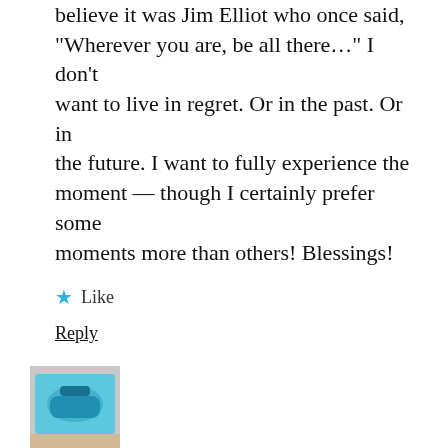believe it was Jim Elliot who once said, “Wherever you are, be all there…” I don’t want to live in regret. Or in the past. Or in the future. I want to fully experience the moment — though I certainly prefer some moments more than others! Blessings!
★ Like
Reply
[Figure (photo): Small avatar photo of a blue bag or object on a sandy surface]
Terry Robinson
May 20, 2014
Thank goodness for quality care facilities and